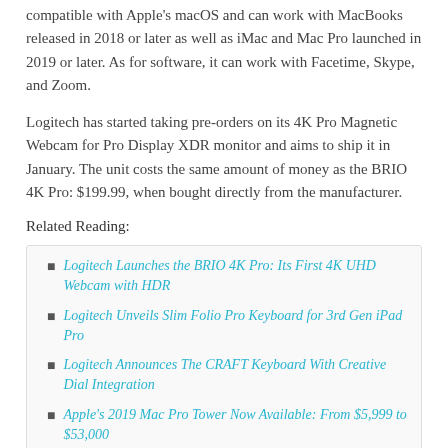compatible with Apple's macOS and can work with MacBooks released in 2018 or later as well as iMac and Mac Pro launched in 2019 or later. As for software, it can work with Facetime, Skype, and Zoom.
Logitech has started taking pre-orders on its 4K Pro Magnetic Webcam for Pro Display XDR monitor and aims to ship it in January. The unit costs the same amount of money as the BRIO 4K Pro: $199.99, when bought directly from the manufacturer.
Related Reading:
Logitech Launches the BRIO 4K Pro: Its First 4K UHD Webcam with HDR
Logitech Unveils Slim Folio Pro Keyboard for 3rd Gen iPad Pro
Logitech Announces The CRAFT Keyboard With Creative Dial Integration
Apple's 2019 Mac Pro Tower Now Available: From $5,999 to $53,000
Apple's 2019 Mac Pro and Pro Display XDR Will Be Available in December